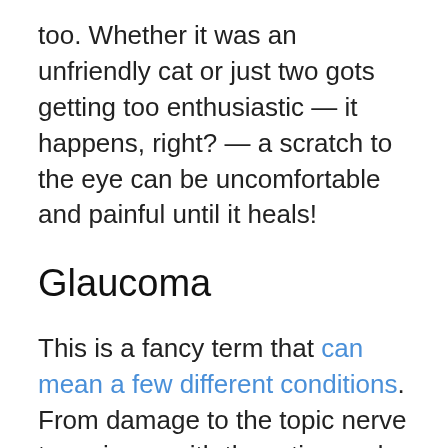too. Whether it was an unfriendly cat or just two gots getting too enthusiastic — it happens, right? — a scratch to the eye can be uncomfortable and painful until it heals!
Glaucoma
This is a fancy term that can mean a few different conditions. From damage to the topic nerve to an issue with the retina and beyond, this means that your dog's eye is damaged (most likely permanently) and you can